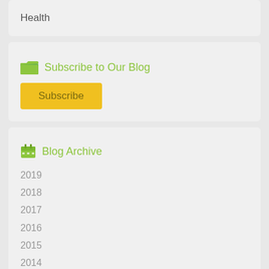Health
Subscribe to Our Blog
Subscribe
Blog Archive
2019
2018
2017
2016
2015
2014
December
November